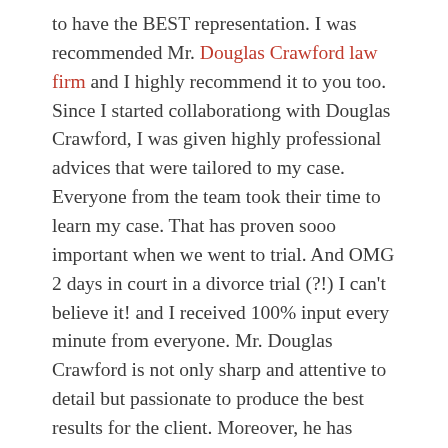to have the BEST representation. I was recommended Mr. Douglas Crawford law firm and I highly recommend it to you too.
Since I started collaborationg with Douglas Crawford, I was given highly professional advices that were tailored to my case. Everyone from the team took their time to learn my case. That has proven sooo important when we went to trial. And OMG 2 days in court in a divorce trial (?!) I can't believe it! and I received 100% input every minute from everyone. Mr. Douglas Crawford is not only sharp and attentive to detail but passionate to produce the best results for the client. Moreover, he has common sense and knows to back off at the right time. Great strategist!
The trial itself was very overwhelming and Mr. Crawford was dedicated and calculated for the whole 2 days. I noticed the prompt responsiveness from everyone…